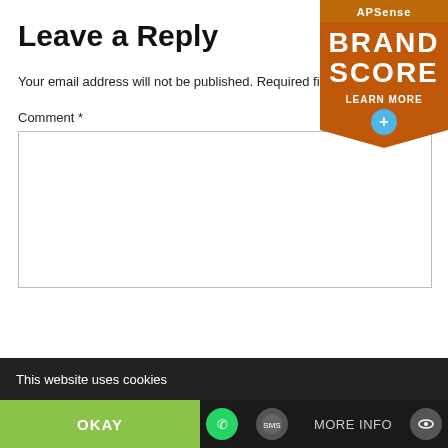Leave a Reply
Your email address will not be published. Required fields are marked *
Comment *
[Figure (infographic): APSense Brand Score badge in orange/brown with 'LEARN MORE' button]
This website uses cookies
OKAY
MORE INFO